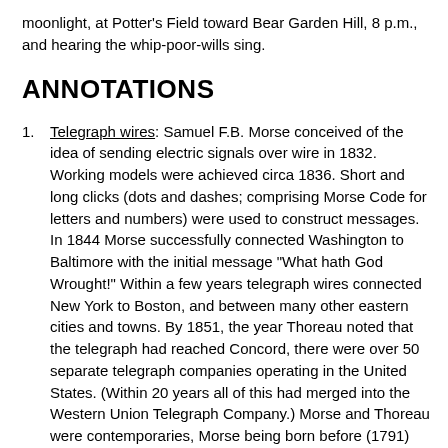moonlight, at Potter's Field toward Bear Garden Hill, 8 p.m., and hearing the whip-poor-wills sing.
ANNOTATIONS
Telegraph wires: Samuel F.B. Morse conceived of the idea of sending electric signals over wire in 1832. Working models were achieved circa 1836. Short and long clicks (dots and dashes; comprising Morse Code for letters and numbers) were used to construct messages. In 1844 Morse successfully connected Washington to Baltimore with the initial message "What hath God Wrought!" Within a few years telegraph wires connected New York to Boston, and between many other eastern cities and towns. By 1851, the year Thoreau noted that the telegraph had reached Concord, there were over 50 separate telegraph companies operating in the United States. (Within 20 years all of this had merged into the Western Union Telegraph Company.) Morse and Thoreau were contemporaries, Morse being born before (1791) and